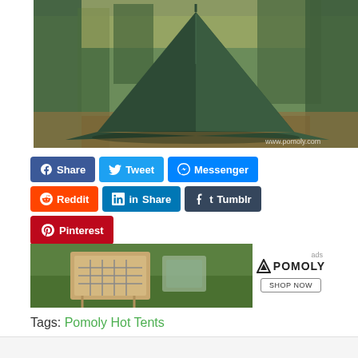[Figure (photo): Green pyramid/teepee-style camping tent set up outdoors among trees with autumn leaves on ground. Watermark reads www.pomoly.com]
Share | Tweet | Messenger | Reddit | Share | Tumblr | Pinterest
[Figure (photo): Camping stove/grill equipment on green grass]
[Figure (logo): POMOLY logo with triangle mountain icon and SHOP NOW button]
Tags: Pomoly Hot Tents